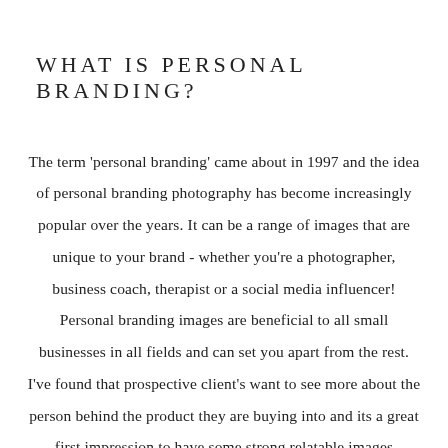WHAT IS PERSONAL BRANDING?
The term 'personal branding' came about in 1997 and the idea of personal branding photography has become increasingly popular over the years. It can be a range of images that are unique to your brand - whether you're a photographer, business coach, therapist or a social media influencer! Personal branding images are beneficial to all small businesses in all fields and can set you apart from the rest. I've found that prospective client's want to see more about the person behind the product they are buying into and its a great first impression to have some strong relatable images showing